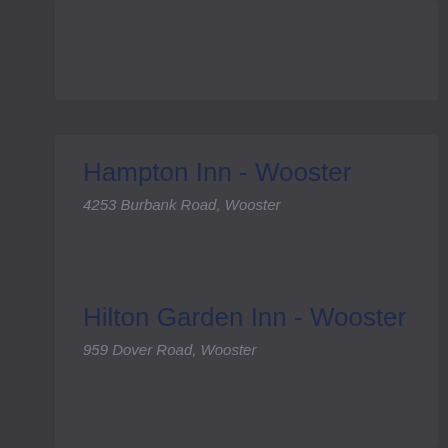Hampton Inn - Wooster
4253 Burbank Road, Wooster
Hilton Garden Inn - Wooster
959 Dover Road, Wooster